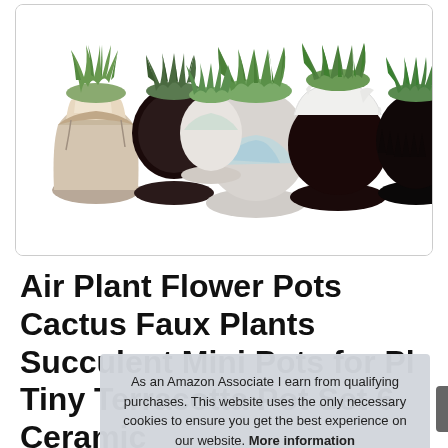[Figure (photo): Product photo of six small ceramic succulent/cactus flower pots arranged in a group on a white background. Pots vary in color: cream/beige, dark brown/black, light blue, mint/seafoam, white with ruffled rim, and black ribbed.]
Air Plant Flower Pots Cactus Faux Plants Succulent Mini Pots for Plants Tiny Terracotta Pot Set 6 Ceramic Set of 6, Home and Office Decor
As an Amazon Associate I earn from qualifying purchases. This website uses the only necessary cookies to ensure you get the best experience on our website. More information